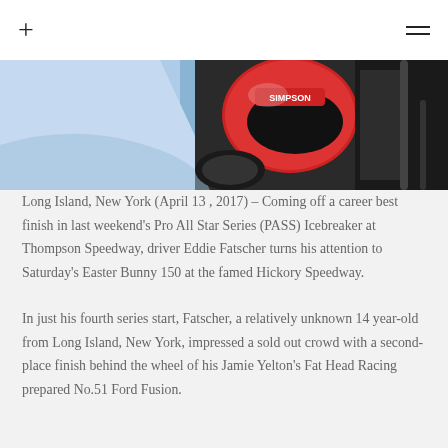+ ≡
[Figure (photo): Close-up photo of a racing driver in a red Simpson helmet inside a race car cockpit, with the car body visible in blue/silver tones.]
Long Island, New York (April 13 , 2017) – Coming off a career best finish in last weekend's Pro All Star Series (PASS) Icebreaker at Thompson Speedway, driver Eddie Fatscher turns his attention to Saturday's Easter Bunny 150 at the famed Hickory Speedway.
In just his fourth series start, Fatscher, a relatively unknown 14 year-old from Long Island, New York, impressed a sold out crowd with a second-place finish behind the wheel of his Jamie Yelton's Fat Head Racing prepared No.51 Ford Fusion.